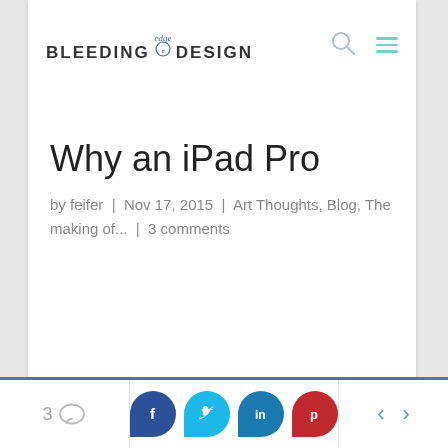BLEEDING edge DESIGN
Why an iPad Pro
by feifer | Nov 17, 2015 | Art Thoughts, Blog, The making of... | 3 comments